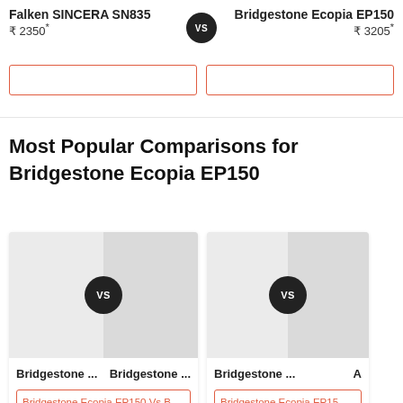Falken SINCERA SN835 ₹ 2350* VS Bridgestone Ecopia EP150 ₹ 3205*
Most Popular Comparisons for Bridgestone Ecopia EP150
[Figure (screenshot): Comparison card showing Bridgestone vs Bridgestone with VS badge]
Bridgestone ...  Bridgestone ...
Bridgestone Ecopia EP150 Vs Bridgesto...
[Figure (screenshot): Comparison card showing Bridgestone vs A with VS badge, partially visible]
Bridgestone ...  A
Bridgestone Ecopia EP15...